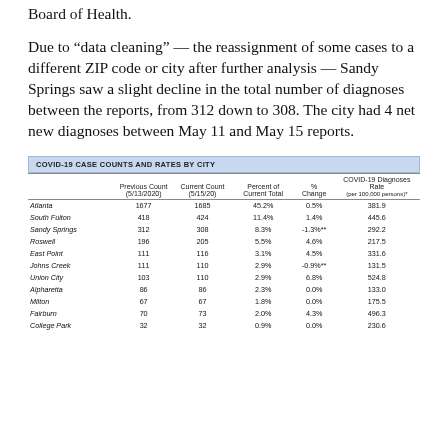Board of Health.
Due to “data cleaning” — the reassignment of some cases to a different ZIP code or city after further analysis — Sandy Springs saw a slight decline in the total number of diagnoses between the reports, from 312 down to 308. The city had 4 net new diagnoses between May 11 and May 15 reports.
|  | Previous Count (5/13/2020) | Current Count (5/15/20) | Percent of Current Total | % Change | COVID-19 Diagnoses Rate (per 100,000 persons)* |
| --- | --- | --- | --- | --- | --- |
| Atlanta | 1677 | 1685 | 45.2% | 0.5% | 381.9 |
| South Fulton | 418 | 424 | 11.4% | 1.4% | 445.6 |
| Sandy Springs | 312 | 308 | 8.3% | -1.3%** | 292.2 |
| Roswell | 196 | 205 | 5.5% | 4.6% | 217.5 |
| East Point | 111 | 116 | 3.1% | 4.5% | 331.6 |
| Johns Creek | 111 | 110 | 2.9% | -0.9%** | 131.5 |
| Union City | 103 | 110 | 2.9% | 6.8% | 524.8 |
| Alpharetta | 86 | 86 | 2.3% | 0.0% | 133.0 |
| Milton | 67 | 67 | 1.8% | 0.0% | 175.5 |
| Fairburn | 70 | 73 | 2.0% | 4.3% | 496.3 |
| College Park | 32 | 32 | 0.9% | 0.0% | 230.6 |